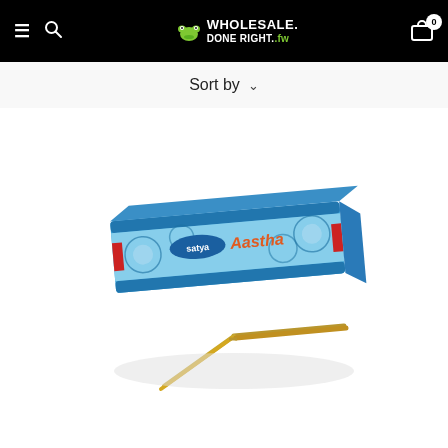Wholesale Done Right - Navigation header with menu, search, logo, and cart
Sort by
[Figure (photo): Product photo of Satya Aastha incense sticks box (blue packaging with floral pattern) with two incense sticks leaning against it on a white background.]